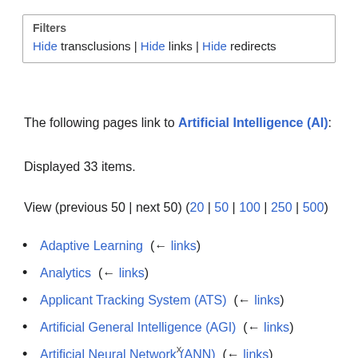Filters
Hide transclusions | Hide links | Hide redirects
The following pages link to Artificial Intelligence (AI):
Displayed 33 items.
View (previous 50 | next 50) (20 | 50 | 100 | 250 | 500)
Adaptive Learning  (← links)
Analytics  (← links)
Applicant Tracking System (ATS)  (← links)
Artificial General Intelligence (AGI)  (← links)
Artificial Neural Network (ANN)  (← links)